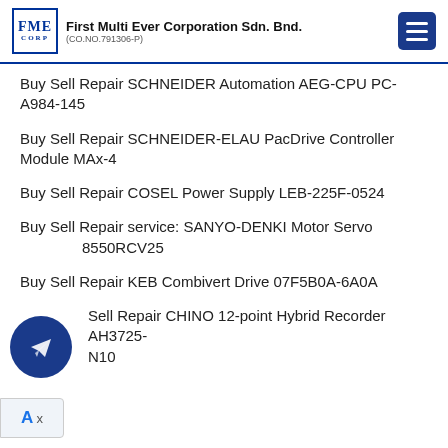First Multi Ever Corporation Sdn. Bnd. (CO.NO.791306-P)
Buy Sell Repair SCHNEIDER Automation AEG-CPU PC-A984-145
Buy Sell Repair SCHNEIDER-ELAU PacDrive Controller Module MAx-4
Buy Sell Repair COSEL Power Supply LEB-225F-0524
Buy Sell Repair service: SANYO-DENKI Motor Servo 8550RCV25
Buy Sell Repair KEB Combivert Drive 07F5B0A-6A0A
Sell Repair CHINO 12-point Hybrid Recorder AH3725-N10